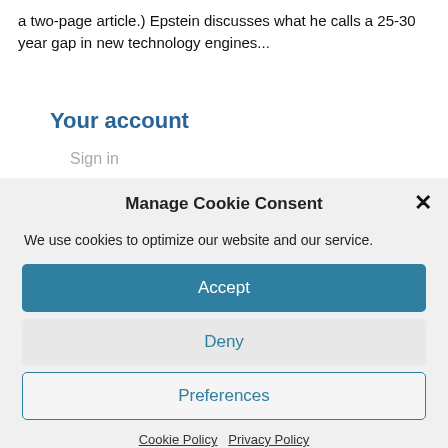a two-page article.) Epstein discusses what he calls a 25-30 year gap in new technology engines...
Your account
Sign in
Manage Cookie Consent
We use cookies to optimize our website and our service.
Accept
Deny
Preferences
Cookie Policy   Privacy Policy